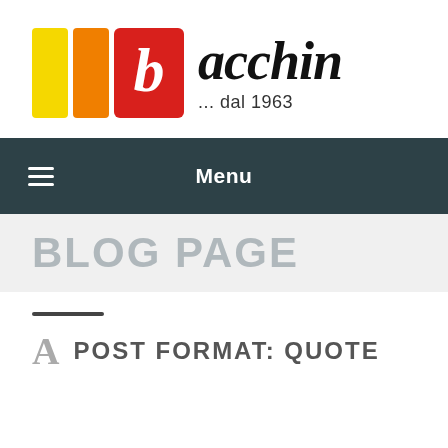[Figure (logo): Bacchin logo with colored blocks (yellow, orange, red) and script text 'bacchin ... dal 1963']
Menu
BLOG PAGE
A  POST FORMAT: QUOTE